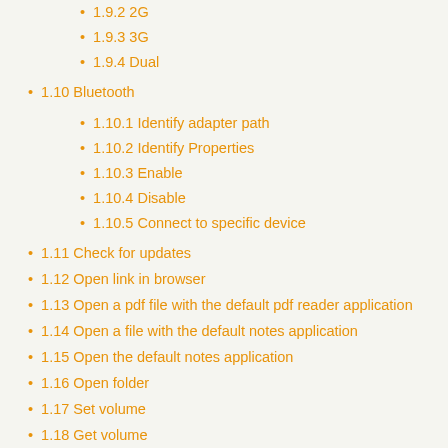1.9.2 2G
1.9.3 3G
1.9.4 Dual
1.10 Bluetooth
1.10.1 Identify adapter path
1.10.2 Identify Properties
1.10.3 Enable
1.10.4 Disable
1.10.5 Connect to specific device
1.11 Check for updates
1.12 Open link in browser
1.13 Open a pdf file with the default pdf reader application
1.14 Open a file with the default notes application
1.15 Open the default notes application
1.16 Open folder
1.17 Set volume
1.18 Get volume
1.19 Reboot
1.20 Shutdown
1.21 Show dashboard